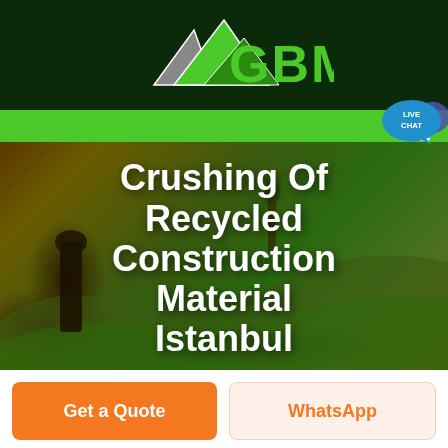[Figure (logo): GBM company logo with mountain/triangle shapes in green and grey on dark green background, with 'GBM' text in bright green]
[Figure (photo): Aerial landscape photo of rolling green and golden fields with a dark tree or stone in foreground, used as hero background]
Crushing Of Recycled Construction Material Istanbul
Get a Quote
WhatsApp